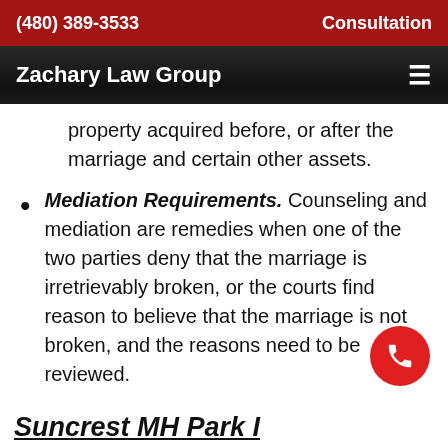(480) 389-3533   Consultation
Zachary Law Group
property acquired before, or after the marriage and certain other assets.
Mediation Requirements. Counseling and mediation are remedies when one of the two parties deny that the marriage is irretrievably broken, or the courts find reason to believe that the marriage is not broken, and the reasons need to be reviewed.
Suncrest MH Park I Arizona Child Custody